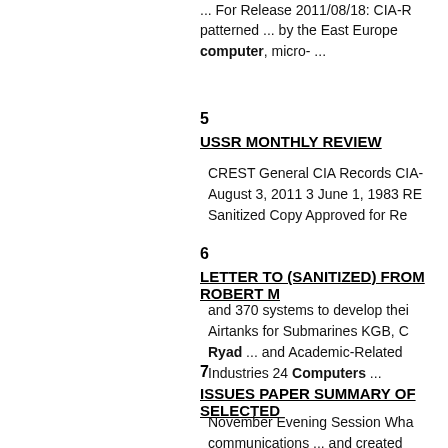... For Release 2011/08/18: CIA-R patterned ... by the East Europe computer, micro- ...
5
USSR MONTHLY REVIEW
CREST General CIA Records CIA- August 3, 2011 3 June 1, 1983 RE Sanitized Copy Approved for Re
6
LETTER TO (SANITIZED) FROM ROBERT M
and 370 systems to develop thei Airtanks for Submarines KGB, C Ryad ... and Academic-Related Industries 24 Computers ...
7
ISSUES PAPER SUMMARY OF SELECTED
November Evening Session Wha communications ... and created dramatically expanded informa computing and communication